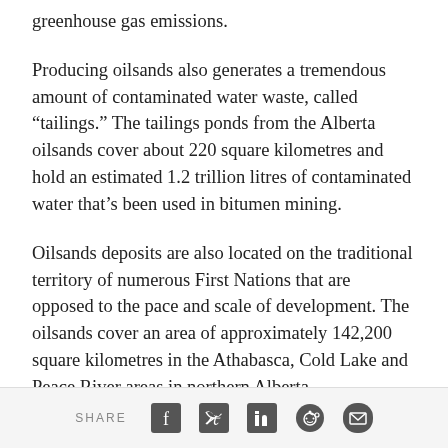greenhouse gas emissions.
Producing oilsands also generates a tremendous amount of contaminated water waste, called “tailings.” The tailings ponds from the Alberta oilsands cover about 220 square kilometres and hold an estimated 1.2 trillion litres of contaminated water that’s been used in bitumen mining.
Oilsands deposits are also located on the traditional territory of numerous First Nations that are opposed to the pace and scale of development. The oilsands cover an area of approximately 142,200 square kilometres in the Athabasca, Cold Lake and Peace River areas in northern Alberta
SHARE